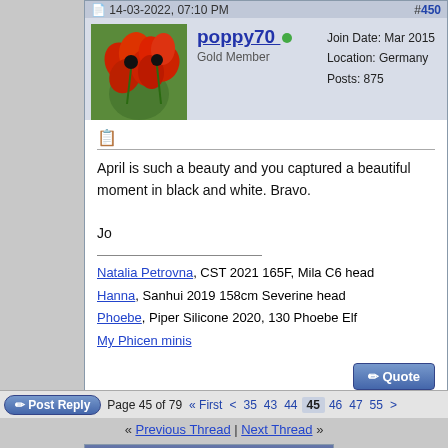14-03-2022, 07:10 PM   #450
poppy70 online
Gold Member
Join Date: Mar 2015
Location: Germany
Posts: 875
April is such a beauty and you captured a beautiful moment in black and white. Bravo.

Jo
Natalia Petrovna, CST 2021 165F, Mila C6 head
Hanna, Sanhui 2019 158cm Severine head
Phoebe, Piper Silicone 2020, 130 Phoebe Elf
My Phicen minis
Page 45 of 79  « First  <  35  43  44  45  46  47  55  >
« Previous Thread | Next Thread »
Posting Rules
You may not post new threads
You may not post replies
You may not post attachments